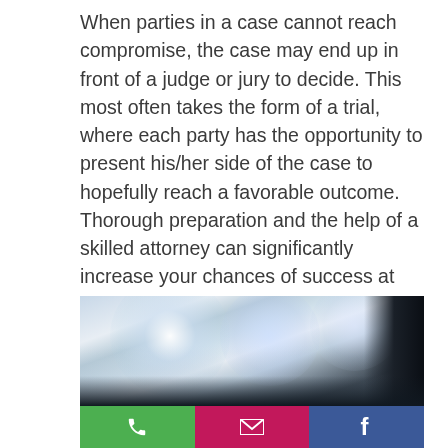When parties in a case cannot reach compromise, the case may end up in front of a judge or jury to decide. This most often takes the form of a trial, where each party has the opportunity to present his/her side of the case to hopefully reach a favorable outcome. Thorough preparation and the help of a skilled attorney can significantly increase your chances of success at trial, but the outcome is never guaranteed.
[Figure (photo): Stage or courtroom dramatic photo with bright overhead lights and smoke/fog effect against dark background]
[Figure (infographic): Three colored buttons: green phone button, magenta/pink email button, blue Facebook button with respective icons]